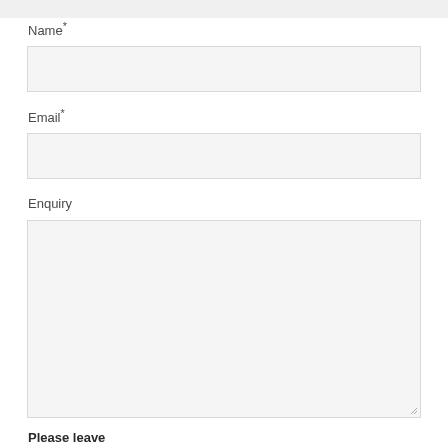Name*
[Figure (other): Empty text input field for Name]
Email*
[Figure (other): Empty text input field for Email]
Enquiry
[Figure (other): Empty textarea field for Enquiry with resize handle]
Please leave